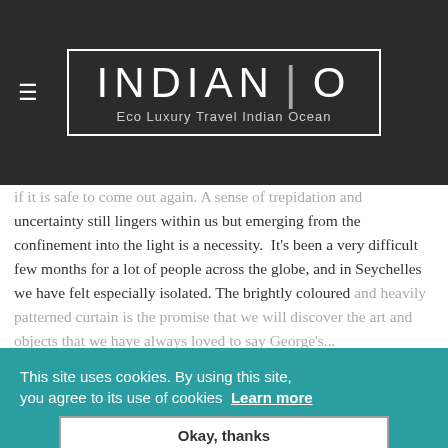[Figure (logo): Indian O logo — 'INDIAN | O' in large white letters on dark background, with tagline 'Eco Luxury Travel Indian Ocean' inside a white bordered rectangle. Hamburger menu icon top left.]
if it is safe to come out again. A sense of trepidation and uncertainty still lingers within us but emerging from the confinement into the light is a necessity.  It's been a very difficult few months for a lot of people across the globe, and in Seychelles we have felt especially isolated. The brightly coloured and heavily patterned curtain is the promise that we will discover the art and objects that we have always loved to say George'...
The mixed media collage artwork entitled 'Loud' by aide is an abstract expression of the given theme.  'Made always believe, starting to celebrate the human express and the quest for a better way. My work conveys a range of human conditions, from the struggles, conflicts, and all the other
This site uses cookies. By using this site, you agree to its use of cookies  Learn more
Okay, thanks